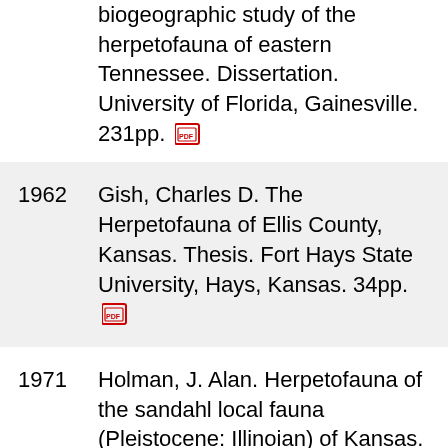biogeographic study of the herpetofauna of eastern Tennessee. Dissertation. University of Florida, Gainesville. 231pp.
1962 Gish, Charles D. The Herpetofauna of Ellis County, Kansas. Thesis. Fort Hays State University, Hays, Kansas. 34pp.
1971 Holman, J. Alan. Herpetofauna of the sandahl local fauna (Pleistocene: Illinoian) of Kansas. Contributions from the Museum of Paleontology, University of Michigan 23(22):349-355
1971 Collins, Joseph T. ...